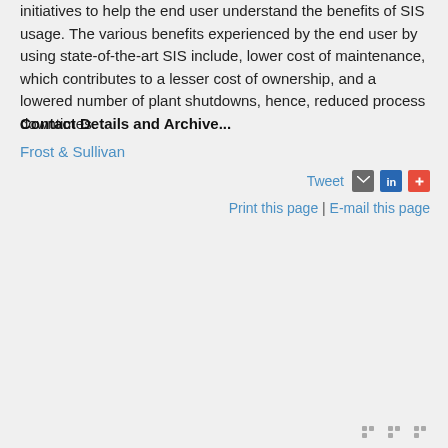initiatives to help the end user understand the benefits of SIS usage. The various benefits experienced by the end user by using state-of-the-art SIS include, lower cost of maintenance, which contributes to a lesser cost of ownership, and a lowered number of plant shutdowns, hence, reduced process downtimes.
Contact Details and Archive...
Frost & Sullivan
Tweet
Print this page | E-mail this page